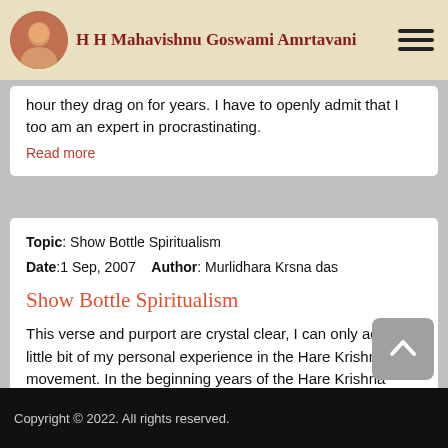H H Mahavishnu Goswami Amrtavani
hour they drag on for years. I have to openly admit that I too am an expert in procrastinating.
Read more
Topic: Show Bottle Spiritualism
Date: 1 Sep, 2007   Author: Murlidhara Krsna das
Show Bottle Spiritualism
This verse and purport are crystal clear, I can only add a little bit of my personal experience in the Hare Krishna movement. In the beginning years of the Hare Krishna movement, everything was either black or white. You either be a full-time devotee within the temple or you are as good as in maya.
Read more
Copyright © 2022. All rights reserved.